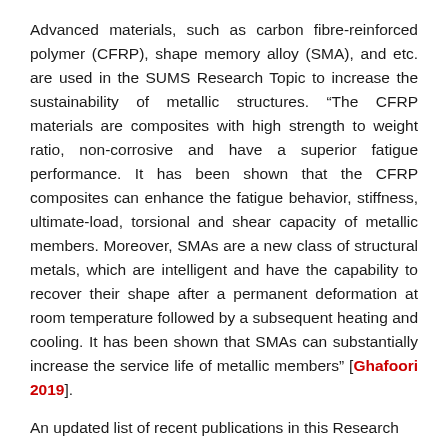Advanced materials, such as carbon fibre-reinforced polymer (CFRP), shape memory alloy (SMA), and etc. are used in the SUMS Research Topic to increase the sustainability of metallic structures. “The CFRP materials are composites with high strength to weight ratio, non-corrosive and have a superior fatigue performance. It has been shown that the CFRP composites can enhance the fatigue behavior, stiffness, ultimate-load, torsional and shear capacity of metallic members. Moreover, SMAs are a new class of structural metals, which are intelligent and have the capability to recover their shape after a permanent deformation at room temperature followed by a subsequent heating and cooling. It has been shown that SMAs can substantially increase the service life of metallic members” [Ghafoori 2019].
An updated list of recent publications in this Research